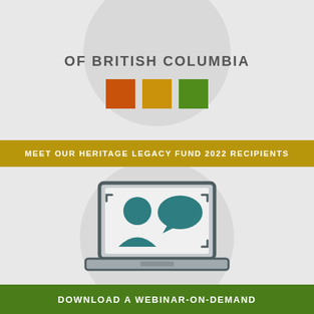OF BRITISH COLUMBIA
[Figure (illustration): Three colored squares: orange, gold/yellow, and green, used as decorative logo elements]
MEET OUR HERITAGE LEGACY FUND 2022 RECIPIENTS
[Figure (illustration): Laptop icon with a person avatar and a speech bubble on screen, representing a webinar or online meeting]
DOWNLOAD A WEBINAR-ON-DEMAND